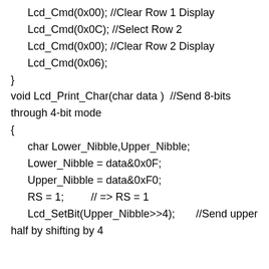Lcd_Cmd(0x00); //Clear Row 1 Display
Lcd_Cmd(0x0C); //Select Row 2
Lcd_Cmd(0x00); //Clear Row 2 Display
Lcd_Cmd(0x06);
}
void Lcd_Print_Char(char data )  //Send 8-bits through 4-bit mode
{
  char Lower_Nibble,Upper_Nibble;
  Lower_Nibble = data&0x0F;
  Upper_Nibble = data&0xF0;
  RS = 1;         // => RS = 1
  Lcd_SetBit(Upper_Nibble>>4);       //Send upper half by shifting by 4